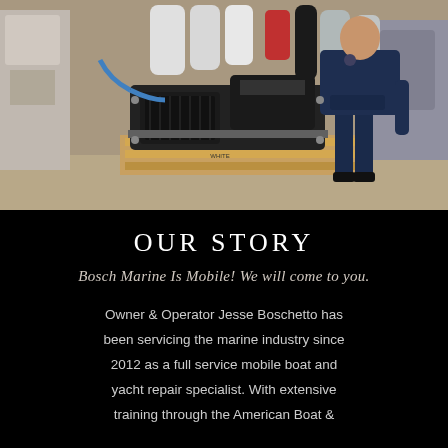[Figure (photo): A man in a dark blue Carhartt hoodie standing in an industrial workshop beside a large black marine engine or compressor unit mounted on a wooden pallet. Various machinery and equipment visible in the background. Numbers '3956' visible on the pallet.]
OUR STORY
Bosch Marine Is Mobile! We will come to you.
Owner & Operator Jesse Boschetto has been servicing the marine industry since 2012 as a full service mobile boat and yacht repair specialist. With extensive training through the American Boat &